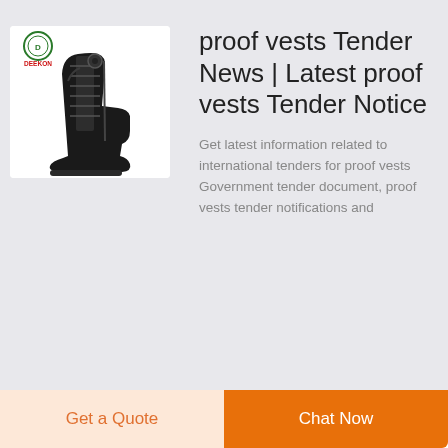[Figure (photo): Black tactical/military boot with lace-up front and side zipper, shown on white background. DEEKON brand logo in upper left corner of image.]
proof vests Tender News | Latest proof vests Tender Notice
Get latest information related to international tenders for proof vests Government tender document, proof vests tender notifications and